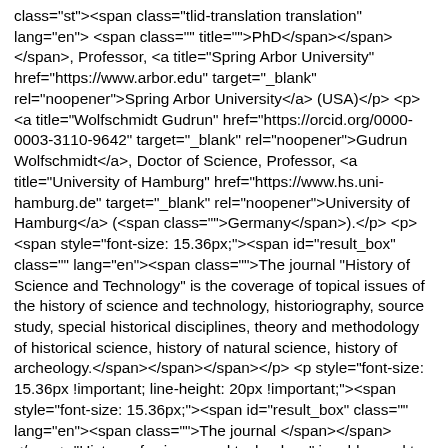class="st"><span class="tlid-translation translation" lang="en"> <span class="" title="">PhD</span></span></span>, Professor, <a title="Spring Arbor University" href="https://www.arbor.edu" target="_blank" rel="noopener">Spring Arbor University</a> (USA)</p> <p><a title="Wolfschmidt Gudrun" href="https://orcid.org/0000-0003-3110-9642" target="_blank" rel="noopener">Gudrun Wolfschmidt</a>, Doctor of Science, Professor, <a title="University of Hamburg" href="https://www.hs.uni-hamburg.de" target="_blank" rel="noopener">University of Hamburg</a> (<span class="">Germany</span>).</p> <p><span style="font-size: 15.36px;"><span id="result_box" class="" lang="en"><span class="">The journal "History of Science and Technology" is the coverage of topical issues of the history of science and technology, historiography, source study, special historical disciplines, theory and methodology of historical science, history of natural science, history of archeology.</span></span></span></p> <p style="font-size: 15.36px !important; line-height: 20px !important;"><span style="font-size: 15.36px;"><span id="result_box" class="" lang="en"><span class="">The journal </span></span></span> "History of science and technology" is addressed to scientists, specialists and everybody interested in key issues on history of science and technology.</p> <p style="font-size: 15.36px !important; line-height: 20px !important;">Editorial board does not always share the author's views displayed in the papers and each